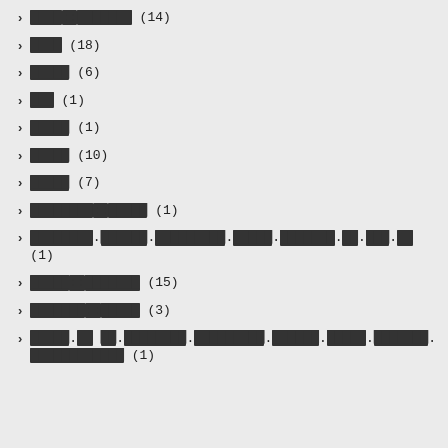████::███████ (14)
████ (18)
█████ (6)
███ (1)
█████ (1)
█████ (10)
█████ (7)
████████::█████ (1)
████████.██████.█████████.█████.███████.██.███.██ (1)
█████::███████ (15)
███████::█████ (3)
█████.██ ██.████████.█████████.██████.█████.███████.████████████ (1)